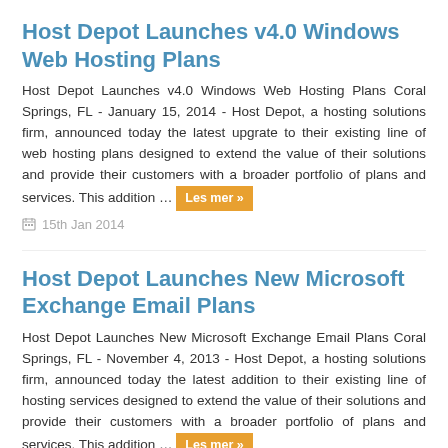Host Depot Launches v4.0 Windows Web Hosting Plans
Host Depot Launches v4.0 Windows Web Hosting Plans Coral Springs, FL - January 15, 2014 - Host Depot, a hosting solutions firm, announced today the latest upgrate to their existing line of web hosting plans designed to extend the value of their solutions and provide their customers with a broader portfolio of plans and services. This addition … Les mer »
15th Jan 2014
Host Depot Launches New Microsoft Exchange Email Plans
Host Depot Launches New Microsoft Exchange Email Plans Coral Springs, FL - November 4, 2013 - Host Depot, a hosting solutions firm, announced today the latest addition to their existing line of hosting services designed to extend the value of their solutions and provide their customers with a broader portfolio of plans and services. This addition … Les mer »